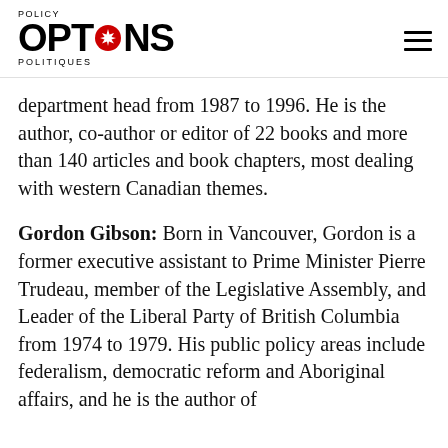POLICY OPTIONS POLITIQUES
department head from 1987 to 1996. He is the author, co-author or editor of 22 books and more than 140 articles and book chapters, most dealing with western Canadian themes.
Gordon Gibson: Born in Vancouver, Gordon is a former executive assistant to Prime Minister Pierre Trudeau, member of the Legislative Assembly, and Leader of the Liberal Party of British Columbia from 1974 to 1979. His public policy areas include federalism, democratic reform and Aboriginal affairs, and he is the author of